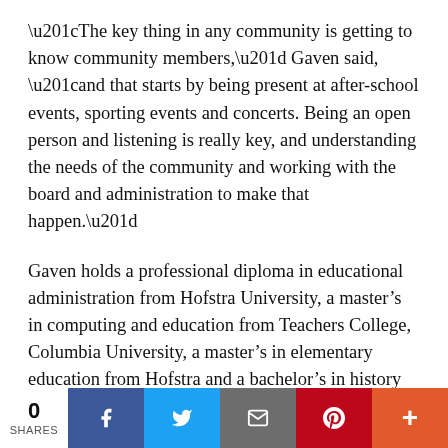“The key thing in any community is getting to know community members,” Gaven said, “and that starts by being present at after-school events, sporting events and concerts. Being an open person and listening is really key, and understanding the needs of the community and working with the board and administration to make that happen.”
Gaven holds a professional diploma in educational administration from Hofstra University, a master’s in computing and education from Teachers College, Columbia University, a master’s in elementary education from Hofstra and a bachelor’s in history from Providence College. He is a lifelong resident of Long Island, and now lives in Garden City with his wife, Maria, and their three
0 SHARES | Facebook | Twitter | Email | Pinterest | More